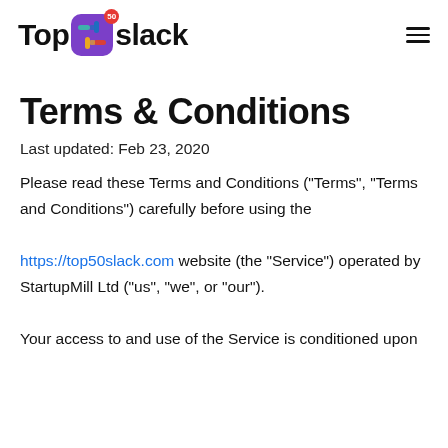Top50slack
Terms & Conditions
Last updated: Feb 23, 2020
Please read these Terms and Conditions ("Terms", "Terms and Conditions") carefully before using the https://top50slack.com website (the "Service") operated by StartupMill Ltd ("us", "we", or "our").
Your access to and use of the Service is conditioned upon